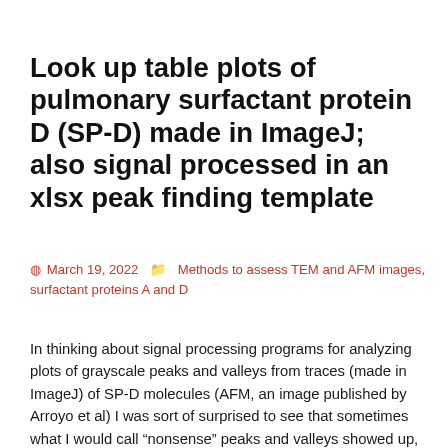Look up table plots of pulmonary surfactant protein D (SP-D) made in ImageJ; also signal processed in an xlsx peak finding template
March 19, 2022   Methods to assess TEM and AFM images, surfactant proteins A and D
In thinking about signal processing programs for analyzing plots of grayscale peaks and valleys from traces (made in ImageJ) of SP-D molecules (AFM, an image published by Arroyo et al) I was sort of surprised to see that sometimes what I would call “nonsense” peaks and valleys showed up, and others i thought should have been counted were left out.  This only surprised me because I dont understand the algorithms that are used to predict peaks…. i understand that. But I am not willing to let go of what my eyes see as a